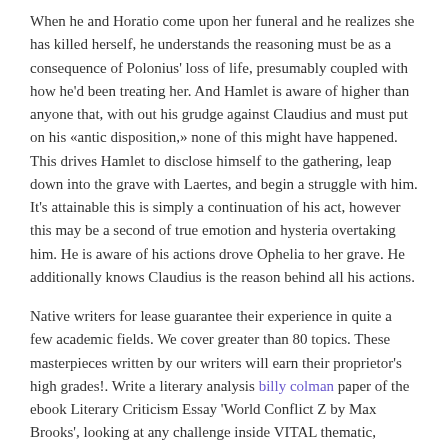When he and Horatio come upon her funeral and he realizes she has killed herself, he understands the reasoning must be as a consequence of Polonius' loss of life, presumably coupled with how he'd been treating her. And Hamlet is aware of higher than anyone that, with out his grudge against Claudius and must put on his «antic disposition,» none of this might have happened. This drives Hamlet to disclose himself to the gathering, leap down into the grave with Laertes, and begin a struggle with him. It's attainable this is simply a continuation of his act, however this may be a second of true emotion and hysteria overtaking him. He is aware of his actions drove Ophelia to her grave. He additionally knows Claudius is the reason behind all his actions.
Native writers for lease guarantee their experience in quite a few academic fields. We cover greater than 80 topics. These masterpieces written by our writers will earn their proprietor's high grades!. Write a literary analysis billy colman paper of the ebook Literary Criticism Essay 'World Conflict Z by Max Brooks', looking at any challenge inside VITAL thematic, cultural, philosophical, or mental importance.
Ophelia's insanity and death are a direct results of Hamlet killing her father. But there's also a deeper purpose for her madness. Her father's death isn't even alleged to occur. It's a mistake that stems from Hamlet's relationship with Claudius, and his want for revenge.